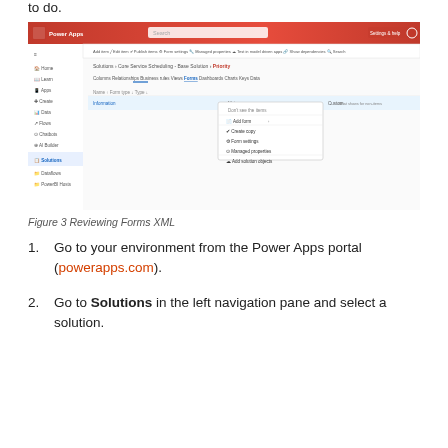to do.
[Figure (screenshot): Power Apps portal screenshot showing Solutions > Core Service Scheduling - Base Solution > Priority page with Forms tab selected and a dropdown context menu open showing options: Add form, Form settings, Managed properties, Add solution objects]
Figure 3 Reviewing Forms XML
Go to your environment from the Power Apps portal (powerapps.com).
Go to Solutions in the left navigation pane and select a solution.